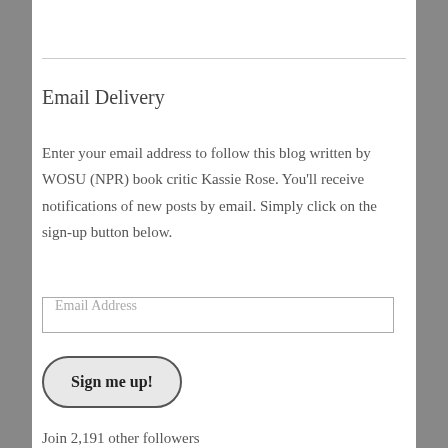Email Delivery
Enter your email address to follow this blog written by WOSU (NPR) book critic Kassie Rose. You'll receive notifications of new posts by email. Simply click on the sign-up button below.
Email Address
Sign me up!
Join 2,191 other followers